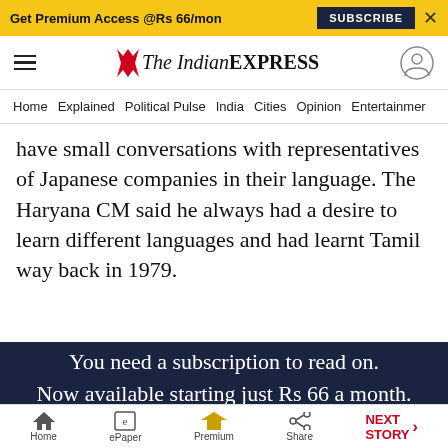Get Premium Access @Rs 66/mon  SUBSCRIBE  ×
The Indian EXPRESS
Home  Explained  Political Pulse  India  Cities  Opinion  Entertainment
have small conversations with representatives of Japanese companies in their language. The Haryana CM said he always had a desire to learn different languages and had learnt Tamil way back in 1979.
You need a subscription to read on. Now available starting just Rs 66 a month.
Home  ePaper  Premium  Share  NEXT STORY →